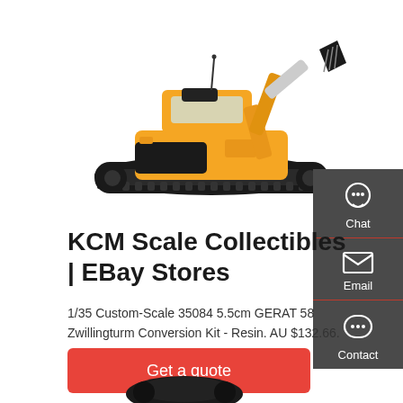[Figure (photo): Orange and black mini excavator/compact tracked excavator on white background]
KCM Scale Collectibles | EBay Stores
1/35 Custom-Scale 35084 5.5cm GERAT 58 Zwillingturm Conversion Kit - Resin. AU $132.66.
[Figure (other): Contact sidebar with Chat, Email, and Contact icons on dark grey background]
[Figure (photo): Partial view of another product at the bottom of the page]
Get a quote